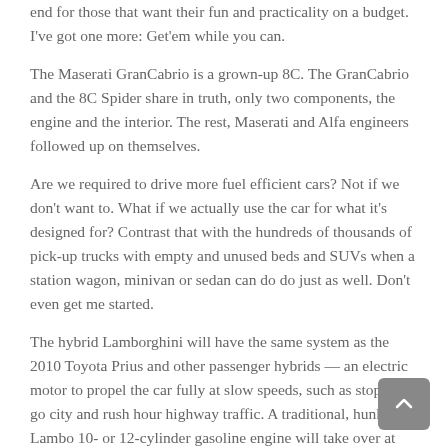end for those that want their fun and practicality on a budget. I've got one more: Get'em while you can.
The Maserati GranCabrio is a grown-up 8C. The GranCabrio and the 8C Spider share in truth, only two components, the engine and the interior. The rest, Maserati and Alfa engineers followed up on themselves.
Are we required to drive more fuel efficient cars? Not if we don't want to. What if we actually use the car for what it's designed for? Contrast that with the hundreds of thousands of pick-up trucks with empty and unused beds and SUVs when a station wagon, minivan or sedan can do do just as well. Don't even get me started.
The hybrid Lamborghini will have the same system as the 2010 Toyota Prius and other passenger hybrids — an electric motor to propel the car fully at slow speeds, such as stop and go city and rush hour highway traffic. A traditional, hunky Lambo 10- or 12-cylinder gasoline engine will take over at higher speeds.